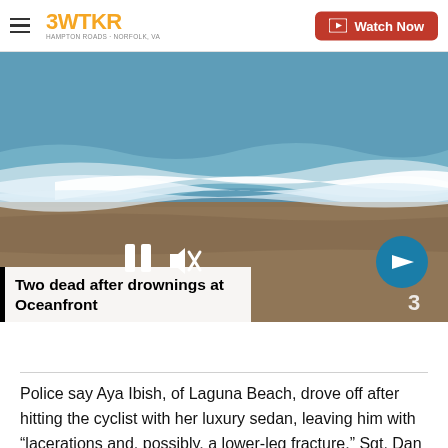3WTKR | Watch Now
[Figure (screenshot): Beach scene with ocean waves and sandy shore used as video thumbnail. Video player controls visible: pause button and mute icon on lower left, arrow navigation button on lower right.]
Two dead after drownings at Oceanfront
Police say Aya Ibish, of Laguna Beach, drove off after hitting the cyclist with her luxury sedan, leaving him with “lacerations and, possibly, a lower-leg fracture,” Sgt. Dan Miles told the paper.